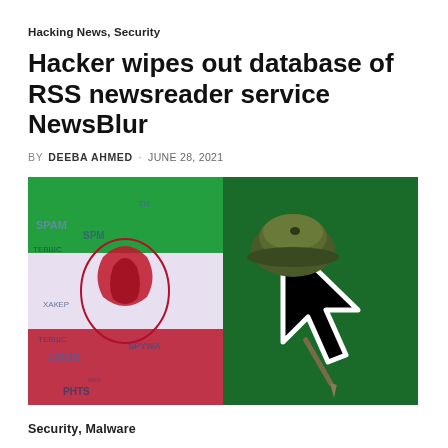Hacking News, Security
Hacker wipes out database of RSS newsreader service NewsBlur
BY DEEBA AHMED · JUNE 28, 2021
[Figure (photo): Two-panel image: left panel shows the Iranian flag overlaid with cybersecurity-related words (SPAM, SPYWARE, VIRUS, PHISHING, etc.); right panel shows a 3D cursor arrow icon wearing a military helmet on a dark green background.]
Security, Malware